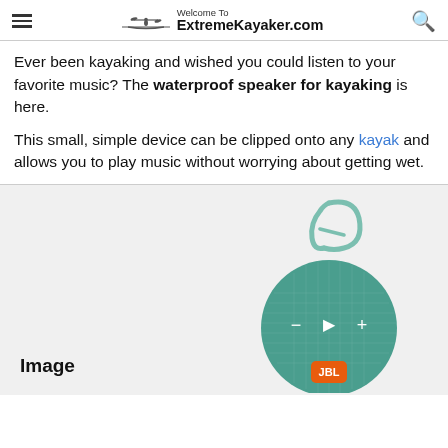Welcome To ExtremeKayaker.com
Ever been kayaking and wished you could listen to your favorite music? The waterproof speaker for kayaking is here.
This small, simple device can be clipped onto any kayak and allows you to play music without worrying about getting wet.
[Figure (photo): Teal/green JBL Clip waterproof Bluetooth speaker with a carabiner clip on top, shown on a light gray background]